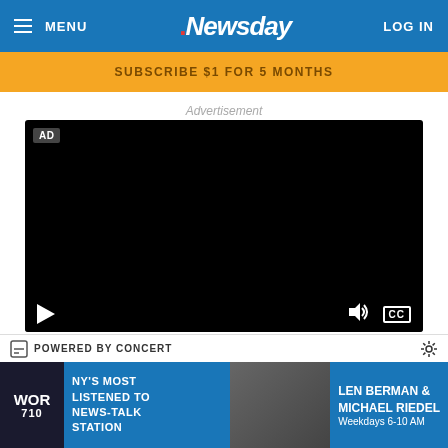MENU | Newsday | LOG IN
SUBSCRIBE $1 FOR 5 MONTHS
Advertisement
[Figure (screenshot): Black video player with AD badge in top-left corner, play button, volume icon, and CC button in video controls bar at bottom]
POWERED BY CONCERT
[Figure (photo): WOR 710 radio station advertisement banner with NY's Most Listened To News-Talk Station and Len Berman & Michael Riedel Weekdays 6-10 AM]